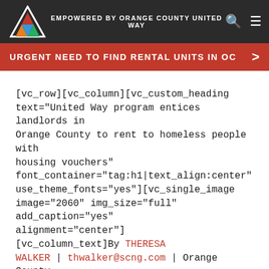EMPOWERED BY ORANGE COUNTY UNITED WAY
URGENT NEED TO FIND RENTAL UNITS IN OC
[vc_row][vc_column][vc_custom_heading text="United Way program entices landlords in Orange County to rent to homeless people with housing vouchers" font_container="tag:h1|text_align:center" use_theme_fonts="yes"][vc_single_image image="2060" img_size="full" add_caption="yes" alignment="center"] [vc_column_text]By THERESA WALKER | thwalker@scng.com | Orange County Register
The math seems a no-brainer.